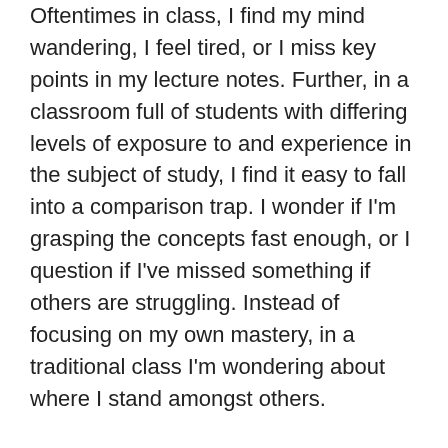Oftentimes in class, I find my mind wandering, I feel tired, or I miss key points in my lecture notes. Further, in a classroom full of students with differing levels of exposure to and experience in the subject of study, I find it easy to fall into a comparison trap. I wonder if I'm grasping the concepts fast enough, or I question if I've missed something if others are struggling. Instead of focusing on my own mastery, in a traditional class I'm wondering about where I stand amongst others.
The flexibility built into the flipped model allows for students to learn at their own pace. <sup>4</sup> I could give myself the repeated exposure needed to be confident that I would...